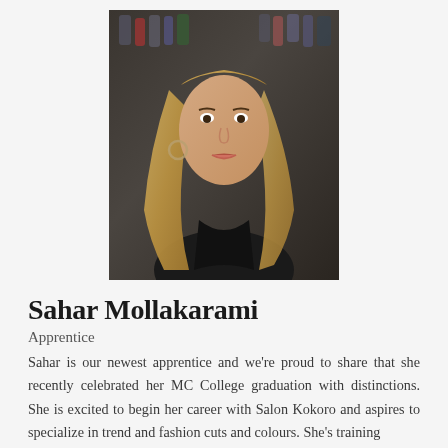[Figure (photo): Portrait photo of Sahar Mollakarami, a young woman with long straight blonde hair wearing a black top, standing in front of shelves with bottles/inks in the background.]
Sahar Mollakarami
Apprentice
Sahar is our newest apprentice and we're proud to share that she recently celebrated her MC College graduation with distinctions. She is excited to begin her career with Salon Kokoro and aspires to specialize in trend and fashion cuts and colours. She's training